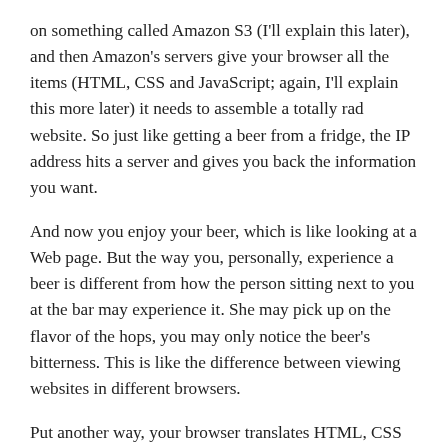on something called Amazon S3 (I'll explain this later), and then Amazon's servers give your browser all the items (HTML, CSS and JavaScript; again, I'll explain this more later) it needs to assemble a totally rad website. So just like getting a beer from a fridge, the IP address hits a server and gives you back the information you want.
And now you enjoy your beer, which is like looking at a Web page. But the way you, personally, experience a beer is different from how the person sitting next to you at the bar may experience it. She may pick up on the flavor of the hops, you may only notice the beer's bitterness. This is like the difference between viewing websites in different browsers.
Put another way, your browser translates HTML, CSS and JavaScript and displays it the way that browsers' programmers decided it should look. It's kind of like if you give five different bands the sheet music to a song by The Replacements. They're not all going to cover it the same way, even though